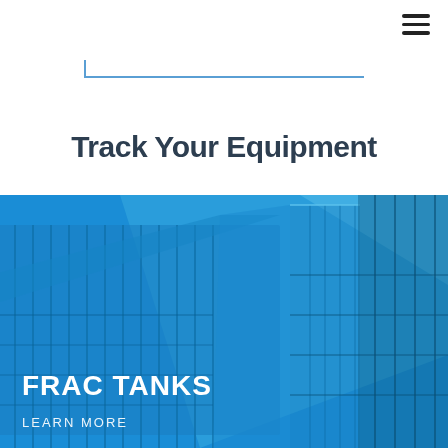[Figure (other): Hamburger menu icon (three horizontal lines) in top-right corner]
[Figure (other): Search/input bar with blue bottom and left border lines]
Track Your Equipment
[Figure (photo): Blue-tinted photograph of a frac tank showing ribbed metal sides and corner structure. Overlaid with text 'FRAC TANKS' in bold white and 'LEARN MORE' below it.]